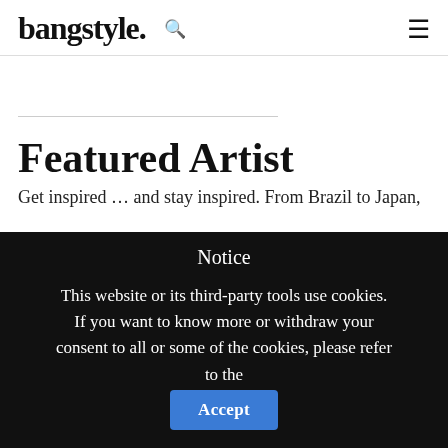bangstyle.
Featured Artist
Get inspired … and stay inspired. From Brazil to Japan,
Notice

This website or its third-party tools use cookies. If you want to know more or withdraw your consent to all or some of the cookies, please refer to the
Accept